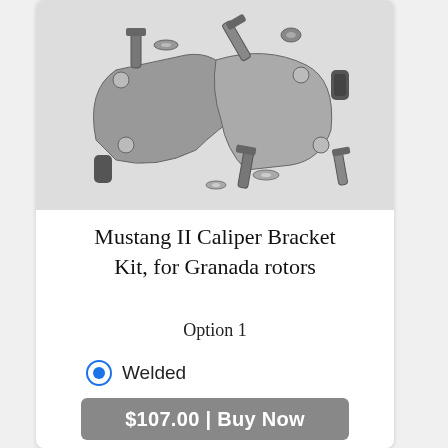[Figure (photo): Product photo showing a Mustang II caliper bracket kit with metal brackets, bolts, washers, and hardware on a white background. Image is in black and white/grayscale.]
Mustang II Caliper Bracket Kit, for Granada rotors
Option 1
Welded (selected)
Ready to weld
$107.00 | Buy Now